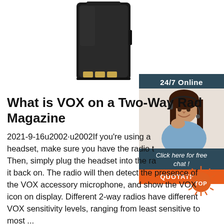[Figure (photo): Black two-way radio battery pack viewed from the back, showing gold contacts at bottom]
[Figure (infographic): 24/7 Online chat widget with dark teal header, photo of smiling woman with headset, 'Click here for free chat!' text, and orange QUOTATION button]
What is VOX on a Two-Way Radio Magazine
2021-9-16u2002·u2002If you're using a headset, make sure you have the radio t Then, simply plug the headset into the ra it back on. The radio will then detect the presence of the VOX accessory microphone, and show the VOX icon on display. Different 2-way radios have different VOX sensitivity levels, ranging from least sensitive to most ...
[Figure (logo): Orange circular TOP badge with sun-ray spikes around the edge]